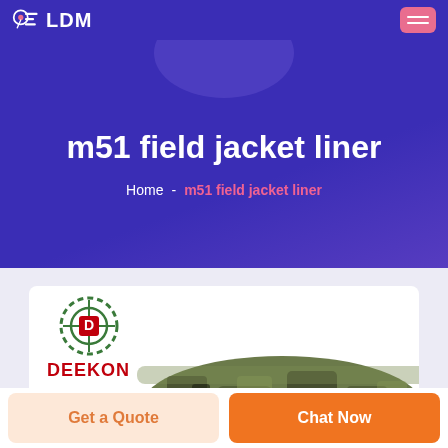LDM
m51 field jacket liner
Home  -  m51 field jacket liner
[Figure (logo): DEEKON brand logo with circular target/crosshair emblem in green and red, with product image of camouflage m51 field jacket liner below]
Get a Quote
Chat Now